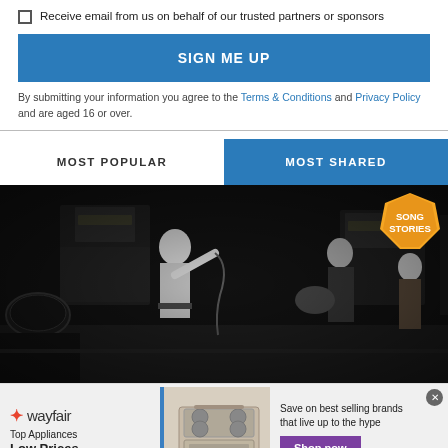Receive email from us on behalf of our trusted partners or sponsors
SIGN ME UP
By submitting your information you agree to the Terms & Conditions and Privacy Policy and are aged 16 or over.
MOST POPULAR
MOST SHARED
[Figure (photo): Black and white photo of a band performing on stage. A shirtless male singer stands at front, guitarist behind. Drum kit on left. Marshall amplifiers in background. Female performer visible on right. Song Stories hexagon badge overlay top right.]
[Figure (infographic): Wayfair advertisement: Top Appliances Low Prices, Save on best selling brands that live up to the hype, Shop now button. Range/stove image shown.]